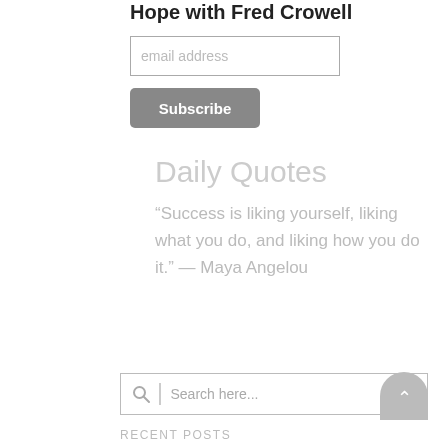Hope with Fred Crowell
[Figure (other): Email address input field with placeholder text 'email address']
[Figure (other): Subscribe button with gray background and white text]
Daily Quotes
“Success is liking yourself, liking what you do, and liking how you do it.” — Maya Angelou
[Figure (other): Search box with magnifying glass icon and placeholder text 'Search here...']
[Figure (other): Back to top button - gray rounded arch shape with upward arrow]
RECENT POSTS